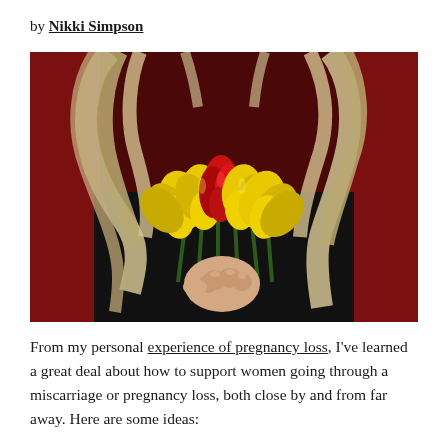by Nikki Simpson
[Figure (photo): Woman in black top with blonde curly hair holding a bouquet of yellow tulips with one red tulip in the center, against a dark red background.]
From my personal experience of pregnancy loss, I've learned a great deal about how to support women going through a miscarriage or pregnancy loss, both close by and from far away. Here are some ideas: